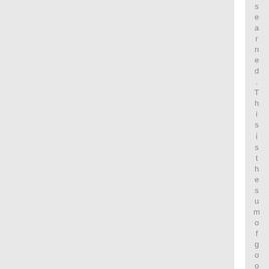searned. This is the sum of goodgo